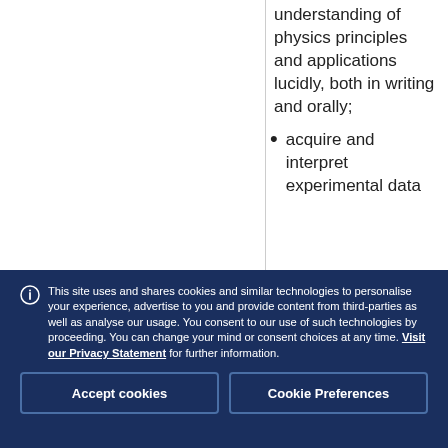understanding of physics principles and applications lucidly, both in writing and orally;
acquire and interpret experimental data
This site uses and shares cookies and similar technologies to personalise your experience, advertise to you and provide content from third-parties as well as analyse our usage. You consent to our use of such technologies by proceeding. You can change your mind or consent choices at any time. Visit our Privacy Statement for further information.